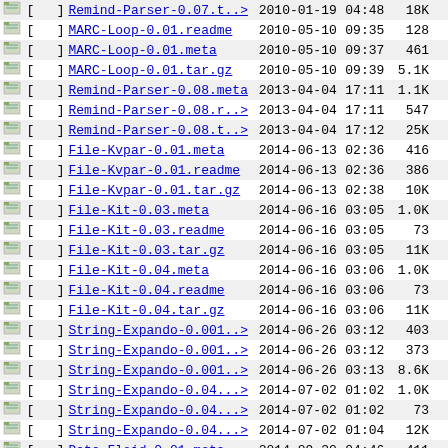| [icon] | [  ] | Name | Date | Time | Size |  |
| --- | --- | --- | --- | --- | --- | --- |
| [img] | [ ] | Remind-Parser-0.07.t..> | 2010-01-19 | 04:48 | 18K |  |
| [img] | [ ] | MARC-Loop-0.01.readme | 2010-05-10 | 09:35 | 128 |  |
| [img] | [ ] | MARC-Loop-0.01.meta | 2010-05-10 | 09:37 | 461 |  |
| [img] | [ ] | MARC-Loop-0.01.tar.gz | 2010-05-10 | 09:39 | 5.1K |  |
| [img] | [ ] | Remind-Parser-0.08.meta | 2013-04-04 | 17:11 | 1.1K |  |
| [img] | [ ] | Remind-Parser-0.08.r..> | 2013-04-04 | 17:11 | 547 |  |
| [img] | [ ] | Remind-Parser-0.08.t..> | 2013-04-04 | 17:12 | 25K |  |
| [img] | [ ] | File-Kvpar-0.01.meta | 2014-06-13 | 02:36 | 416 |  |
| [img] | [ ] | File-Kvpar-0.01.readme | 2014-06-13 | 02:36 | 386 |  |
| [img] | [ ] | File-Kvpar-0.01.tar.gz | 2014-06-13 | 02:38 | 10K |  |
| [img] | [ ] | File-Kit-0.03.meta | 2014-06-16 | 03:05 | 1.0K |  |
| [img] | [ ] | File-Kit-0.03.readme | 2014-06-16 | 03:05 | 73 |  |
| [img] | [ ] | File-Kit-0.03.tar.gz | 2014-06-16 | 03:05 | 11K |  |
| [img] | [ ] | File-Kit-0.04.meta | 2014-06-16 | 03:06 | 1.0K |  |
| [img] | [ ] | File-Kit-0.04.readme | 2014-06-16 | 03:06 | 73 |  |
| [img] | [ ] | File-Kit-0.04.tar.gz | 2014-06-16 | 03:06 | 11K |  |
| [img] | [ ] | String-Expando-0.001..> | 2014-06-26 | 03:12 | 403 |  |
| [img] | [ ] | String-Expando-0.001..> | 2014-06-26 | 03:12 | 373 |  |
| [img] | [ ] | String-Expando-0.001..> | 2014-06-26 | 03:13 | 8.6K |  |
| [img] | [ ] | String-Expando-0.04...> | 2014-07-02 | 01:02 | 1.0K |  |
| [img] | [ ] | String-Expando-0.04...> | 2014-07-02 | 01:02 | 73 |  |
| [img] | [ ] | String-Expando-0.04...> | 2014-07-02 | 01:04 | 12K |  |
| [img] | [ ] | Data-Floid-0.01.meta | 2014-09-30 | 04:46 | 411 |  |
| [img] | [ ] | Data-Floid-0.01.readme | 2014-09-30 | 04:46 | 381 |  |
| [img] | [ ] | Data-Floid-0.01.tar.gz | 2014-09-30 | 04:47 | 9.0K |  |
| [img] | [ ] | MARC-Indexer-0.03.re..> | 2015-04-07 | 14:44 | 68 |  |
| [img] | [ ] | MARC-Indexer-0.04.re..> | 2015-04-07 | 14:44 | 68 |  |
| [img] | [ ] | WWW-lk4-0.10.meta | 2016-05-04 | 21:18 | 1.0K |  |